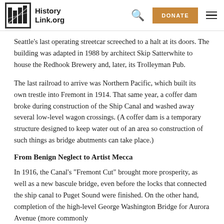HistoryLink.org
Seattle's last operating streetcar screeched to a halt at its doors. The building was adapted in 1988 by architect Skip Satterwhite to house the Redhook Brewery and, later, its Trolleyman Pub.
The last railroad to arrive was Northern Pacific, which built its own trestle into Fremont in 1914. That same year, a coffer dam broke during construction of the Ship Canal and washed away several low-level wagon crossings. (A coffer dam is a temporary structure designed to keep water out of an area so construction of such things as bridge abutments can take place.)
From Benign Neglect to Artist Mecca
In 1916, the Canal's "Fremont Cut" brought more prosperity, as well as a new bascule bridge, even before the locks that connected the ship canal to Puget Sound were finished. On the other hand, completion of the high-level George Washington Bridge for Aurora Avenue (more commonly